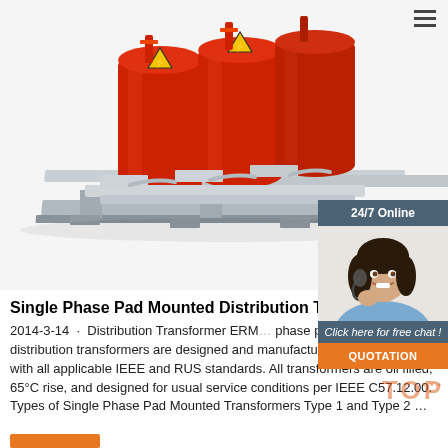[Figure (photo): Three-phase dry-type transformer units with red cylindrical coils and warning symbols, mounted on a metal skid frame, photographed from a low angle on white background.]
[Figure (photo): 24/7 Online chat widget showing a smiling woman with a headset, a dark teal header reading '24/7 Online', a speech bubble saying 'Click here for free chat!', and an orange 'QUOTATION' button.]
Single Phase Pad Mounted Distribution Tr...
2014-3-14 · Distribution Transformer ERM... phase pad mounted distribution transformers are designed and manufactured in compliance with all applicable IEEE and RUS standards. All transformers are oil filled, 65°C rise, and designed for usual service conditions per IEEE C57.12.00. Types of Single Phase Pad Mounted Transformers Type 1 and Type 2 ...